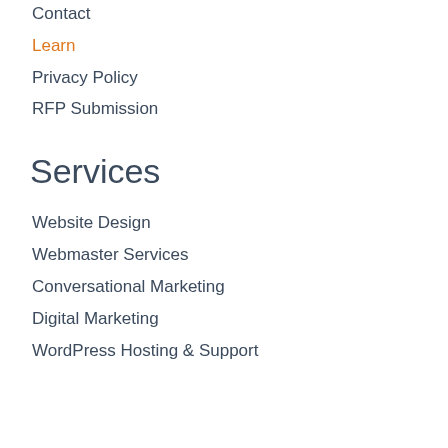Contact
Learn
Privacy Policy
RFP Submission
Services
Website Design
Webmaster Services
Conversational Marketing
Digital Marketing
WordPress Hosting & Support